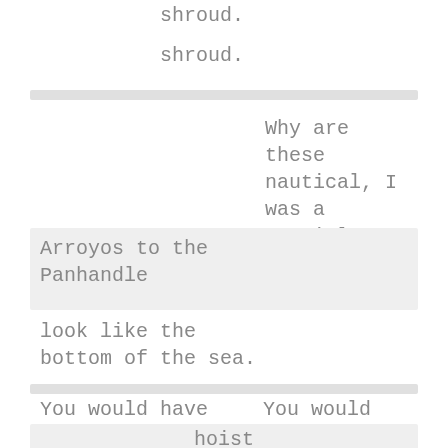shroud.
shroud.
Why are these nautical, I was a cowgirl.
Arroyos to the Panhandle
look like the bottom of the sea.
You would have me
You would
hoist